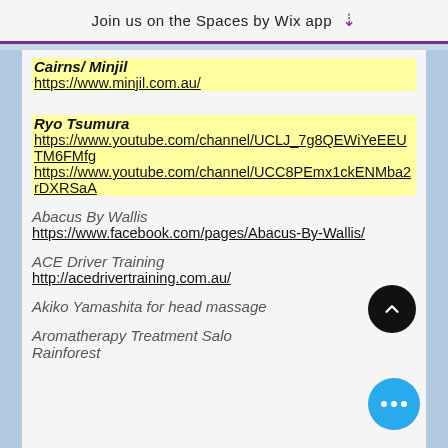Join us on the Spaces by Wix app
Cairns/ Minjil
https://www.minjil.com.au/
Ryo Tsumura
https://www.youtube.com/channel/UCLJ_7g8QEWiYeEEUTM6FMfg
https://www.youtube.com/channel/UCC8PEmx1ckENMba2rDXRSaA
Abacus By Wallis
https://www.facebook.com/pages/Abacus-By-Wallis/
ACE Driver Training
http://acedrivertraining.com.au/
Akiko Yamashita for head massage
Aromatherapy Treatment Salon Rainforest